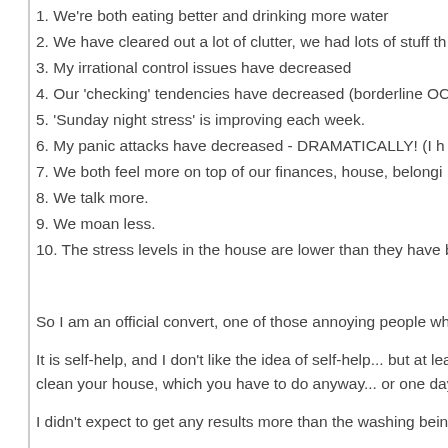1. We're both eating better and drinking more water
2. We have cleared out a lot of clutter, we had lots of stuff th
3. My irrational control issues have decreased
4. Our 'checking' tendencies have decreased (borderline OC
5. 'Sunday night stress' is improving each week.
6. My panic attacks have decreased - DRAMATICALLY! (I h
7. We both feel more on top of our finances, house, belongi
8. We talk more.
9. We moan less.
10. The stress levels in the house are lower than they have b
So I am an official convert, one of those annoying people who k
It is self-help, and I don't like the idea of self-help... but at least clean your house, which you have to do anyway... or one day s
I didn't expect to get any results more than the washing being d